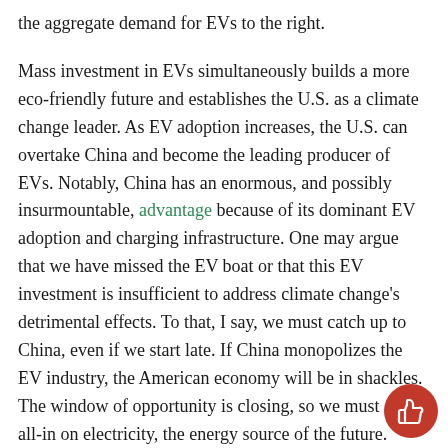the aggregate demand for EVs to the right.
Mass investment in EVs simultaneously builds a more eco-friendly future and establishes the U.S. as a climate change leader. As EV adoption increases, the U.S. can overtake China and become the leading producer of EVs. Notably, China has an enormous, and possibly insurmountable, advantage because of its dominant EV adoption and charging infrastructure. One may argue that we have missed the EV boat or that this EV investment is insufficient to address climate change's detrimental effects. To that, I say, we must catch up to China, even if we start late. If China monopolizes the EV industry, the American economy will be in shackles. The window of opportunity is closing, so we must go all-in on electricity, the energy source of the future. Biden's plan includes tax credits and incentives to promote domestic EV battery production, instead of in China. (3) President Biden hopes to decrease economic dependence on intermediate goods from China and reduce geopolitical risks on our economy. Reducing